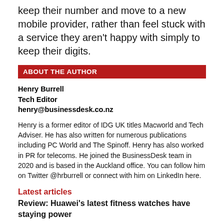keep their number and move to a new mobile provider, rather than feel stuck with a service they aren't happy with simply to keep their digits.
ABOUT THE AUTHOR
Henry Burrell
Tech Editor
henry@businessdesk.co.nz
Henry is a former editor of IDG UK titles Macworld and Tech Adviser. He has also written for numerous publications including PC World and The Spinoff. Henry has also worked in PR for telecoms. He joined the BusinessDesk team in 2020 and is based in the Auckland office. You can follow him on Twitter @hrburrell or connect with him on LinkedIn here.
Latest articles
Review: Huawei's latest fitness watches have staying power